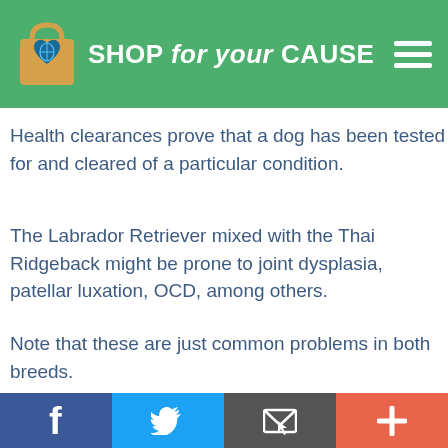SHOP for your CAUSE
Health clearances prove that a dog has been tested for and cleared of a particular condition.
The Labrador Retriever mixed with the Thai Ridgeback might be prone to joint dysplasia, patellar luxation, OCD, among others.
Note that these are just common problems in both breeds.
Social share bar: Facebook, Twitter, Email, More